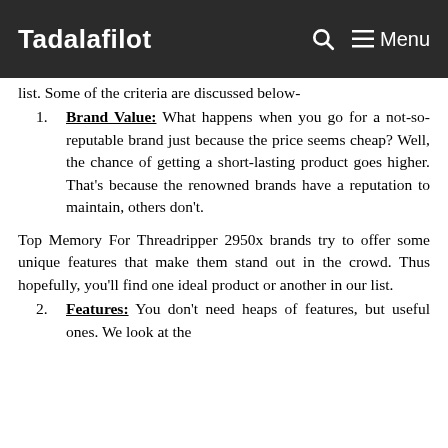Tadalafilot | Menu
list. Some of the criteria are discussed below-
Brand Value: What happens when you go for a not-so-reputable brand just because the price seems cheap? Well, the chance of getting a short-lasting product goes higher. That's because the renowned brands have a reputation to maintain, others don't.
Top Memory For Threadripper 2950x brands try to offer some unique features that make them stand out in the crowd. Thus hopefully, you'll find one ideal product or another in our list.
Features: You don't need heaps of features, but useful ones. We look at the